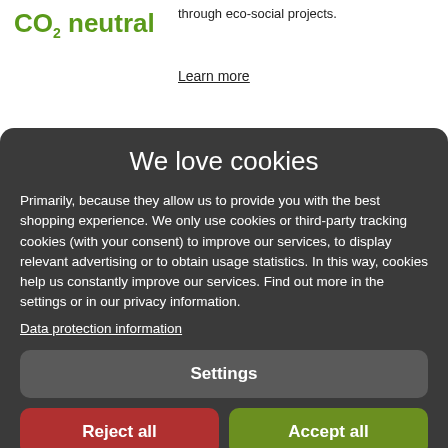[Figure (logo): CO2 neutral logo in green text with subscript 2]
through eco-social projects.
Learn more
We love cookies
Primarily, because they allow us to provide you with the best shopping experience. We only use cookies or third-party tracking cookies (with your consent) to improve our services, to display relevant advertising or to obtain usage statistics. In this way, cookies help us constantly improve our services. Find out more in the settings or in our privacy information.
Data protection information
Settings
Reject all
Accept all